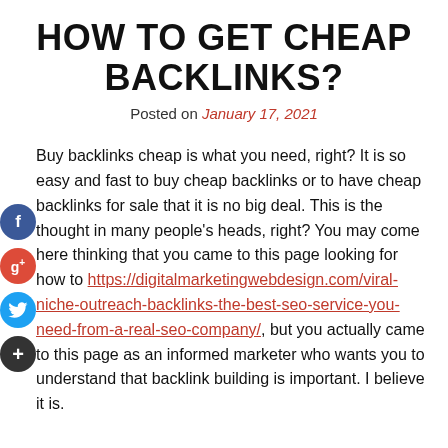HOW TO GET CHEAP BACKLINKS?
Posted on January 17, 2021
Buy backlinks cheap is what you need, right? It is so easy and fast to buy cheap backlinks or to have cheap backlinks for sale that it is no big deal. This is the thought in many people's heads, right? You may come here thinking that you came to this page looking for how to https://digitalmarketingwebdesign.com/viral-niche-outreach-backlinks-the-best-seo-service-you-need-from-a-real-seo-company/, but you actually came to this page as an informed marketer who wants you to understand that backlink building is important. I believe it is.